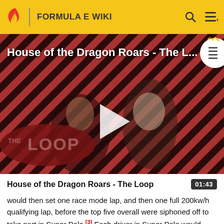FORMULA E WIKI
[Figure (screenshot): Video thumbnail for 'House of the Dragon Roars - The Loop' showing two characters against a diagonal red and black striped background with a large play button in the center and 'THE LOOP' text overlay at the bottom left.]
House of the Dragon Roars - The Loop
would then set one race mode lap, and then one full 200kw/h qualifying lap, before the top five overall were siphoned off to take part in Super Pole.[3] Each driver in Super Pole would then set one additional full power lap to